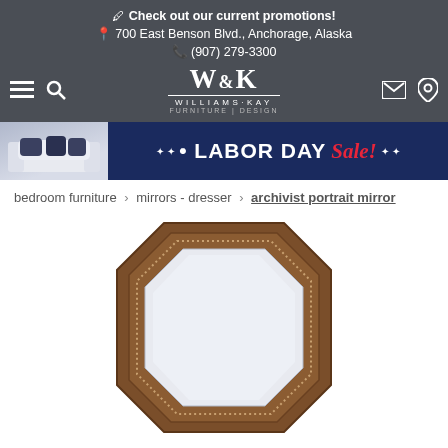Check out our current promotions!
700 East Benson Blvd., Anchorage, Alaska
(907) 279-3300
[Figure (logo): Williams & Kay Furniture | Design logo]
[Figure (photo): Labor Day Sale banner with sofa image]
bedroom furniture > mirrors - dresser > archivist portrait mirror
[Figure (photo): Archivist portrait mirror product image, octagonal dark walnut frame]